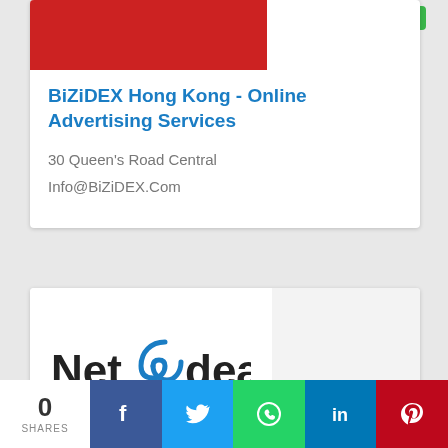[Figure (logo): Red banner/image area at top of first listing card]
1 Coupons
BiZiDEX Hong Kong - Online Advertising Services
30 Queen's Road Central
Info@BiZiDEX.Com
[Figure (logo): Netedeal logo with blue swirl icon between 'Net' and 'deal']
0 Coupons
0
SHARES